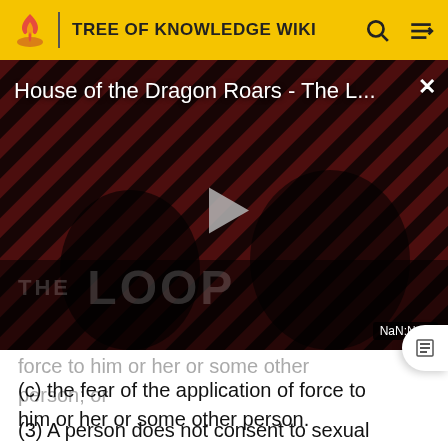TREE OF KNOWLEDGE WIKI
[Figure (screenshot): Video player overlay showing 'House of the Dragon Roars - The L...' with a play button, THE LOOP branding, and NaN:NaN time display. Background has red and black diagonal stripes with dark figures.]
force to him or her or some other person; or
(c) the fear of the application of force to him or her or some other person.
(3) A person does not consent to sexual activity if the activity occurs while he or she is asleep or unconscious.